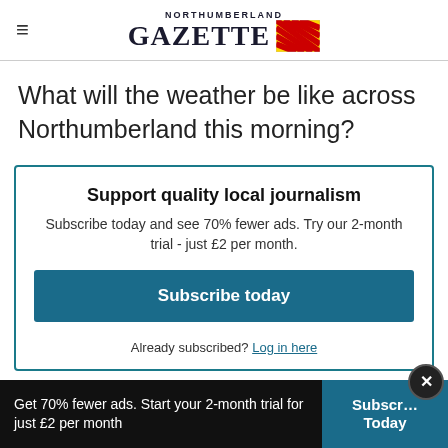NORTHUMBERLAND GAZETTE
What will the weather be like across Northumberland this morning?
Support quality local journalism
Subscribe today and see 70% fewer ads. Try our 2-month trial - just £2 per month.
Subscribe today
Already subscribed? Log in here
Get 70% fewer ads. Start your 2-month trial for just £2 per month  Subscribe Today